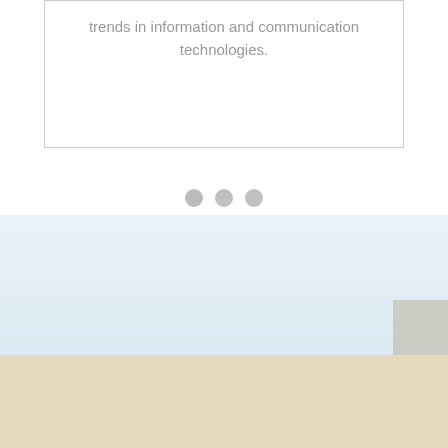trends in information and communication technologies.
[Figure (other): Three grey dots arranged horizontally, serving as a decorative separator or pagination indicator]
[Figure (other): Light blue background section at the bottom of the page, with a small beige/tan corner accent in the lower right]
[Figure (other): Beige/cream colored footer band at the very bottom of the page]